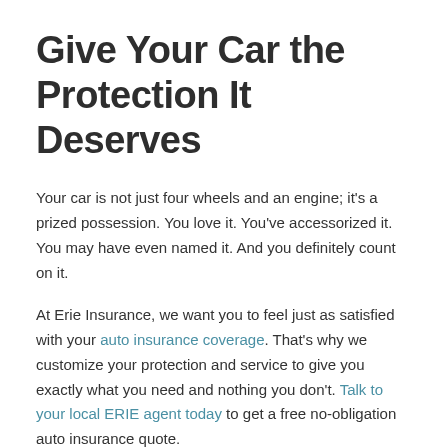Give Your Car the Protection It Deserves
Your car is not just four wheels and an engine; it's a prized possession. You love it. You've accessorized it. You may have even named it. And you definitely count on it.
At Erie Insurance, we want you to feel just as satisfied with your auto insurance coverage. That's why we customize your protection and service to give you exactly what you need and nothing you don't. Talk to your local ERIE agent today to get a free no-obligation auto insurance quote.
In many ways, your car is an extension of your personality